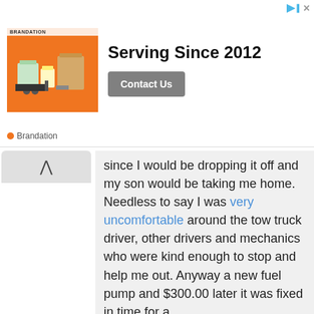[Figure (other): Advertisement banner with orange household goods image, text 'Serving Since 2012', and 'Contact Us' button. Brandation label at bottom.]
since I would be dropping it off and my son would be taking me home. Needless to say I was very uncomfortable around the tow truck driver, other drivers and mechanics who were kind enough to stop and help me out. Anyway a new fuel pump and $300.00 later it was fixed in time for a